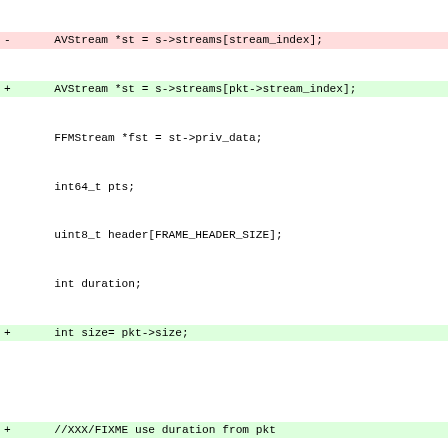[Figure (screenshot): A code diff showing changes to a C source file. Lines with '+' have green background (additions), lines with '-' have red background (deletions), hunk headers have blue background. The code is monospaced and shows modifications to ffm_write_packet function including stream index and packet flag changes.]